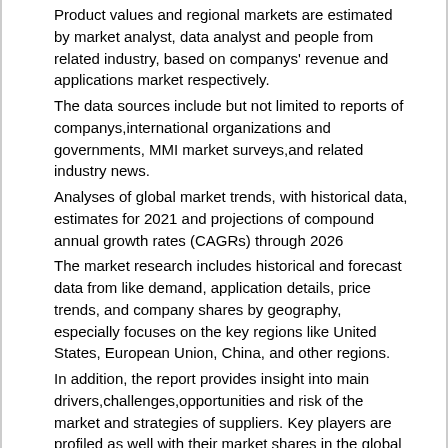Product values and regional markets are estimated by market analyst, data analyst and people from related industry, based on companys' revenue and applications market respectively.
The data sources include but not limited to reports of companys,international organizations and governments, MMI market surveys,and related industry news.
Analyses of global market trends, with historical data, estimates for 2021 and projections of compound annual growth rates (CAGRs) through 2026
The market research includes historical and forecast data from like demand, application details, price trends, and company shares by geography, especially focuses on the key regions like United States, European Union, China, and other regions.
In addition, the report provides insight into main drivers,challenges,opportunities and risk of the market and strategies of suppliers. Key players are profiled as well with their market shares in the global market discussed.
Research Objectives
1.To study and analyze the global Forklift Rental consumption (value) by key regions/countries, product type and application, history data from 2016 to 2020, and forecast to 2026.
2.To understand the structure of Forklift Rental market by identifying its various subsegments.
3.Focuses on the key global Forklift Rental manufacturers, to